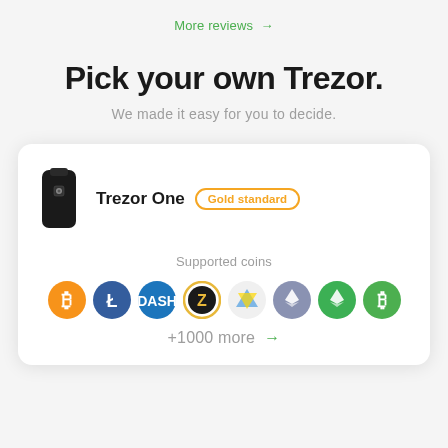More reviews →
Pick your own Trezor.
We made it easy for you to decide.
[Figure (illustration): Product card showing Trezor One hardware wallet device (black USB-like device) with 'Gold standard' badge, supported cryptocurrency coin icons (Bitcoin, Litecoin, Dash, Zcash, Nimiq, Ethereum, Ethereum Classic, Bitcoin Cash), and '+1000 more' link.]